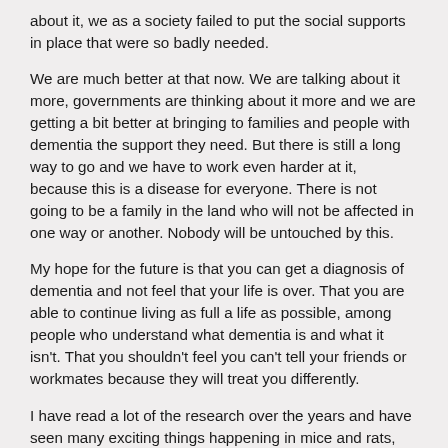about it, we as a society failed to put the social supports in place that were so badly needed.
We are much better at that now. We are talking about it more, governments are thinking about it more and we are getting a bit better at bringing to families and people with dementia the support they need. But there is still a long way to go and we have to work even harder at it, because this is a disease for everyone. There is not going to be a family in the land who will not be affected in one way or another. Nobody will be untouched by this.
My hope for the future is that you can get a diagnosis of dementia and not feel that your life is over. That you are able to continue living as full a life as possible, among people who understand what dementia is and what it isn't. That you shouldn't feel you can't tell your friends or workmates because they will treat you differently.
I have read a lot of the research over the years and have seen many exciting things happening in mice and rats, but unfortunately when they have been rolled out in large, and expensive trials, they have not yet worked in human beings. That's why I am so supportive of the work going on in Edinburgh right now. By gathering all of this information on what causes the disease in its very earliest stages, and differentiating between what could potentially be up to thousands of disease strains, there is a possibility that the game could be changed for generations to come.